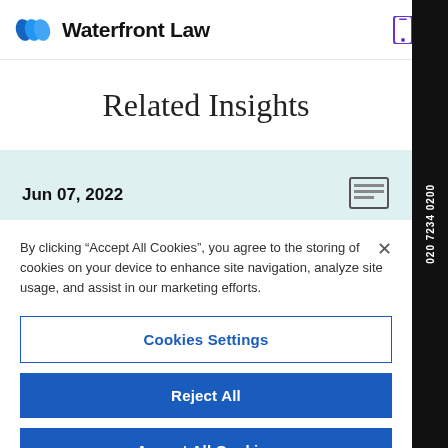Waterfront Law
Related Insights
Jun 07, 2022
By clicking "Accept All Cookies", you agree to the storing of cookies on your device to enhance site navigation, analyze site usage, and assist in our marketing efforts.
Cookies Settings
Reject All
Accept All Cookies